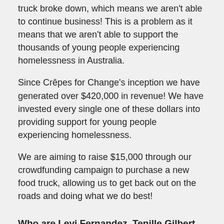truck broke down, which means we aren't able to continue business! This is a problem as it means that we aren't able to support the thousands of young people experiencing homelessness in Australia.
Since Crêpes for Change's inception we have generated over $420,000 in revenue! We have invested every single one of these dollars into providing support for young people experiencing homelessness.
We are aiming to raise $15,000 through our crowdfunding campaign to purchase a new food truck, allowing us to get back out on the roads and doing what we do best!
Who are Levi Fernandez, Tenille Gilbert and Dan Poole?
We are the co-founders of Crêpes for Change and our parent company Society Melbourne. We are all strong believers in using the power of business to create social change and in giving the community the opportunity to be involved through everyday engagement.
Dan was named the 2018 Young Victorian of The Year for his dedicated contribution to starting up Crêpes for Change, he is